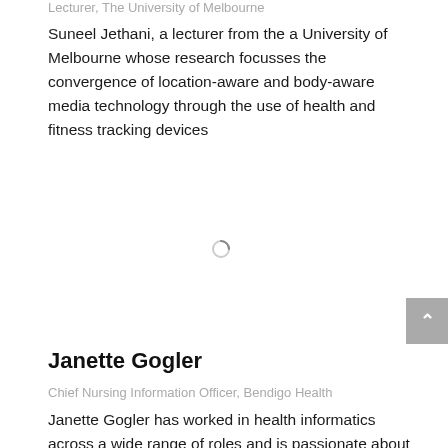Lecturer, The University of Melbourne
Suneel Jethani, a lecturer from the a University of Melbourne whose research focusses the convergence of location-aware and body-aware media technology through the use of health and fitness tracking devices
[Figure (other): Loading spinner icon]
Janette Gogler
Chief Nursing Information Officer, Bendigo Health
Janette Gogler has worked in health informatics across a wide range of roles and is passionate about